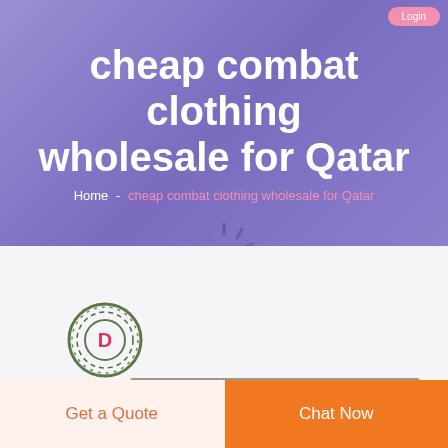cheap combat clothing wholesale for Qatar
Home - cheap combat clothing wholesale for Qatar
[Figure (logo): DEEKON brand logo with circular D emblem in olive/green colors, company name in red/pink bold letters]
[Figure (photo): Partial product image showing combat/military clothing, grey-toned]
Get a Quote
Chat Now